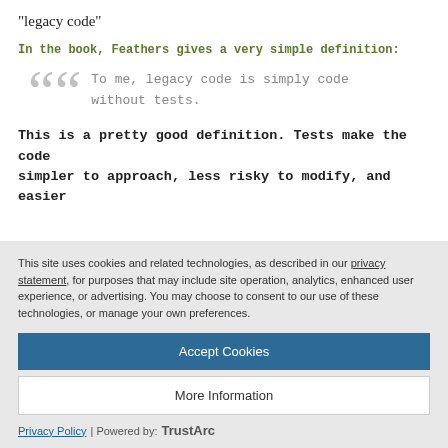“legacy code”
In the book, Feathers gives a very simple definition:
To me, legacy code is simply code without tests.
This is a pretty good definition. Tests make the code simpler to approach, less risky to modify, and easier
This site uses cookies and related technologies, as described in our privacy statement, for purposes that may include site operation, analytics, enhanced user experience, or advertising. You may choose to consent to our use of these technologies, or manage your own preferences.
Accept Cookies
More Information
Privacy Policy | Powered by: TrustArc